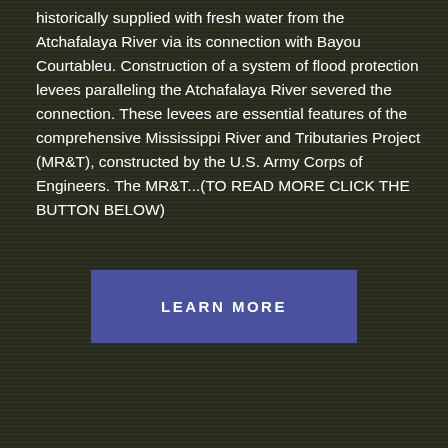historically supplied with fresh water from the Atchafalaya River via its connection with Bayou Courtableu. Construction of a system of flood protection levees paralleling the Atchafalaya River severed the connection. These levees are essential features of the comprehensive Mississippi River and Tributaries Project (MR&T), constructed by the U.S. Army Corps of Engineers. The MR&T...(TO READ MORE CLICK THE BUTTON BELOW)
[Figure (other): A blue button labeled LEARN MORE on a dark textured background]